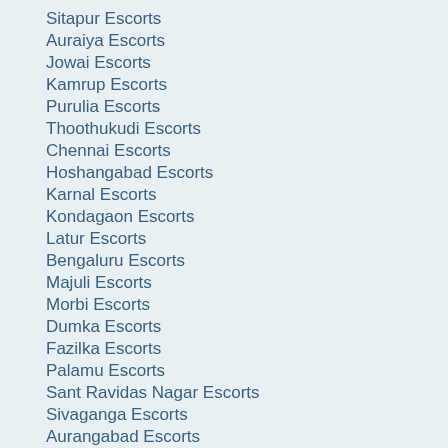Sitapur Escorts
Auraiya Escorts
Jowai Escorts
Kamrup Escorts
Purulia Escorts
Thoothukudi Escorts
Chennai Escorts
Hoshangabad Escorts
Karnal Escorts
Kondagaon Escorts
Latur Escorts
Bengaluru Escorts
Majuli Escorts
Morbi Escorts
Dumka Escorts
Fazilka Escorts
Palamu Escorts
Sant Ravidas Nagar Escorts
Sivaganga Escorts
Aurangabad Escorts
Kamrupmetropolitan Escorts
Raebareli Escorts
Thadal Escorts